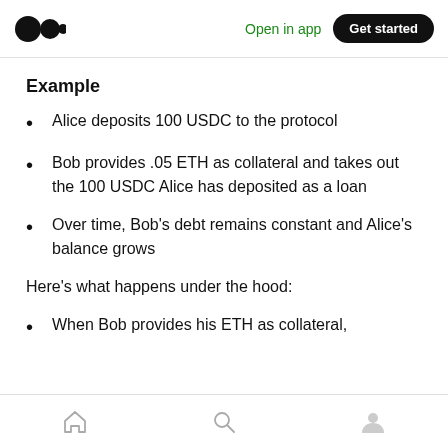Open in app  Get started
Example
Alice deposits 100 USDC to the protocol
Bob provides .05 ETH as collateral and takes out the 100 USDC Alice has deposited as a loan
Over time, Bob’s debt remains constant and Alice’s balance grows
Here’s what happens under the hood:
When Bob provides his ETH as collateral,